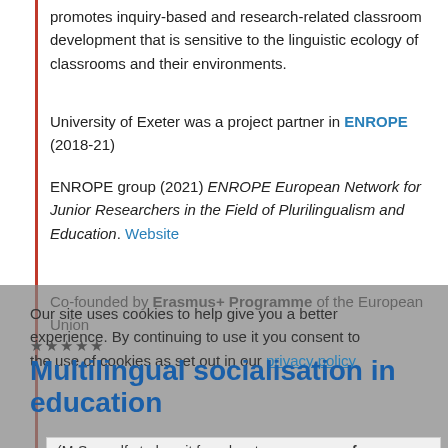promotes inquiry-based and research-related classroom development that is sensitive to the linguistic ecology of classrooms and their environments.
University of Exeter was a project partner in ENROPE (2018-21)
ENROPE group (2021) ENROPE European Network for Junior Researchers in the Field of Plurilingualism and Education. Website
Co-founded by Erasmus+ Programme of the European Union
★★★★★
Our site uses cookies to help give you a better experience. By continuing to use it you consent to the use of cookies as set out in our privacy policy
Multilingual socialisation in education
(M-Soc self-study unit for educators open open for participation)
We have developed a self-study unit for educators at all